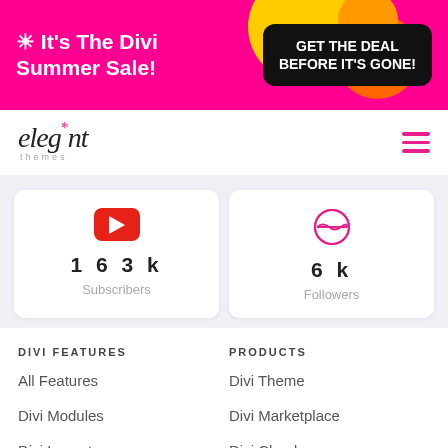[Figure (screenshot): Promotional banner with pink background, summer sale text, and CTA button]
[Figure (logo): Elegant Themes logo with italic serif font and pink asterisk]
163k Subscribers
6k Followers
DIVI FEATURES
All Features
Divi Modules
Divi Layouts
No-Code Builder
PRODUCTS
Divi Theme
Divi Marketplace
Divi Cloud
Divi Hosting